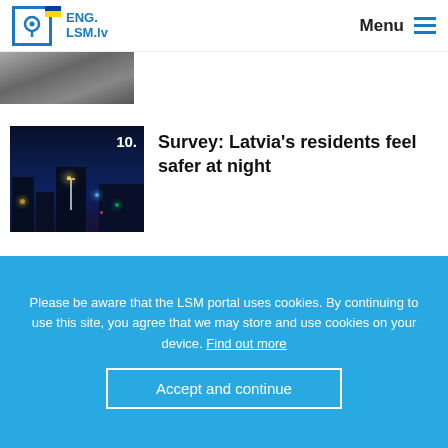ENG. LSM.lv — Menu
[Figure (photo): Partial view of a snowy or grainy outdoor scene — top strip image]
[Figure (photo): Night city street scene with lights and buildings, numbered 10.]
Survey: Latvia's residents feel safer at night
More >
© 2022. Use of any material either in part or in full is allowed
Please be aware that the LSM portal uses cookies. By continuing to use this site, you agree that we may store and use cookies on your device. Find out more
Accept and continue